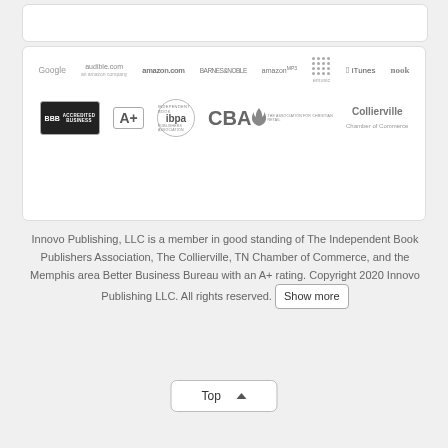[Figure (logo): Row of retailer/platform logos: Google, audible.com, amazon.com, Barnes & Noble, Amazon MP3, emusic, iTunes, nook]
[Figure (logo): Row of association/accreditation badges: BBB Accredited Business A+, IBPA, CBA, Collierville Chamber of Commerce]
Innovo Publishing, LLC is a member in good standing of The Independent Book Publishers Association, The Collierville, TN Chamber of Commerce, and the Memphis area Better Business Bureau with an A+ rating. Copyright 2020 Innovo Publishing LLC. All rights reserved. Show more
Top ^